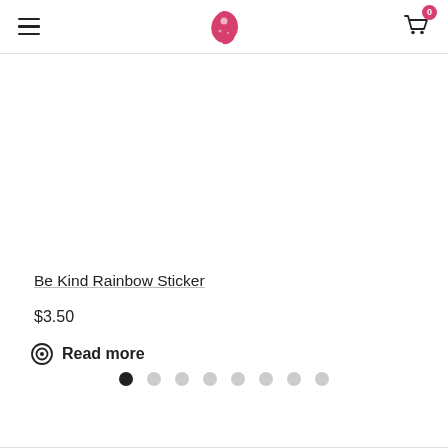Navigation header with hamburger menu, logo, and cart icon
Be Kind Rainbow Sticker
$3.50
Read more
[Figure (other): Pagination dots: 8 dots, first one filled black, rest light grey]